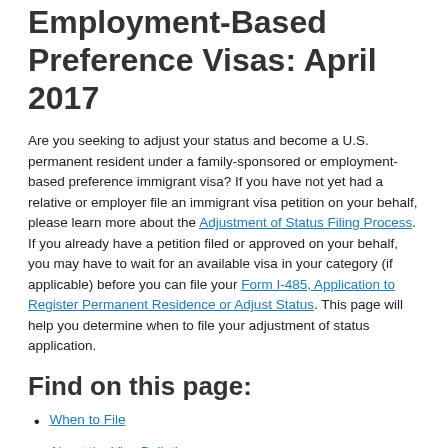Employment-Based Preference Visas: April 2017
Are you seeking to adjust your status and become a U.S. permanent resident under a family-sponsored or employment-based preference immigrant visa? If you have not yet had a relative or employer file an immigrant visa petition on your behalf, please learn more about the Adjustment of Status Filing Process. If you already have a petition filed or approved on your behalf, you may have to wait for an available visa in your category (if applicable) before you can file your Form I-485, Application to Register Permanent Residence or Adjust Status. This page will help you determine when to file your adjustment of status application.
Find on this page:
When to File
About the Visa Bulletin